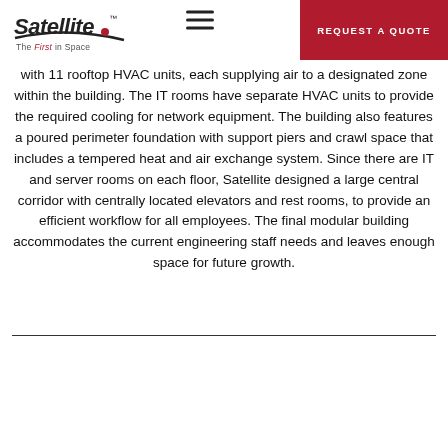Satellite – The First in Space | REQUEST A QUOTE
with 11 rooftop HVAC units, each supplying air to a designated zone within the building. The IT rooms have separate HVAC units to provide the required cooling for network equipment. The building also features a poured perimeter foundation with support piers and crawl space that includes a tempered heat and air exchange system. Since there are IT and server rooms on each floor, Satellite designed a large central corridor with centrally located elevators and rest rooms, to provide an efficient workflow for all employees. The final modular building accommodates the current engineering staff needs and leaves enough space for future growth.